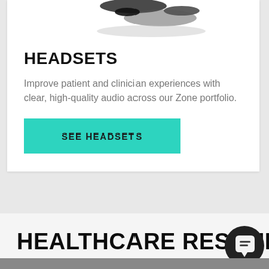[Figure (photo): Partial view of a headset product photo at top of card, dark headset on white background]
HEADSETS
Improve patient and clinician experiences with clear, high-quality audio across our Zone portfolio.
SEE HEADSETS
HEALTHCARE RESOURC
[Figure (illustration): Dark circular chat bubble / speech icon badge in bottom right corner]
[Figure (photo): Partial image strip visible at very bottom of page]